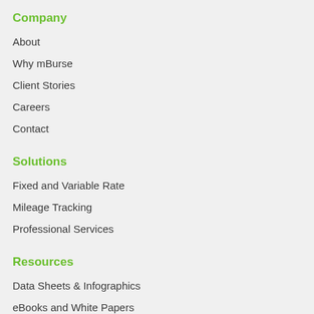Company
About
Why mBurse
Client Stories
Careers
Contact
Solutions
Fixed and Variable Rate
Mileage Tracking
Professional Services
Resources
Data Sheets & Infographics
eBooks and White Papers
Calculators
Case Studies